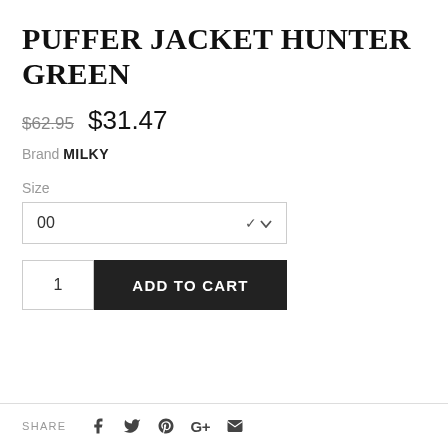PUFFER JACKET HUNTER GREEN
$62.95  $31.47
Brand MILKY
Size
00
1  ADD TO CART
SHARE